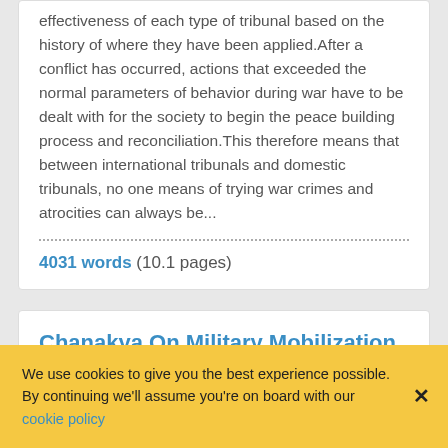effectiveness of each type of tribunal based on the history of where they have been applied.After a conflict has occurred, actions that exceeded the normal parameters of behavior during war have to be dealt with for the society to begin the peace building process and reconciliation.This therefore means that between international tribunals and domestic tribunals, no one means of trying war crimes and atrocities can always be...
4031 words (10.1 pages)
Chanakya On Military Mobilization
We use cookies to give you the best experience possible. By continuing we'll assume you're on board with our cookie policy